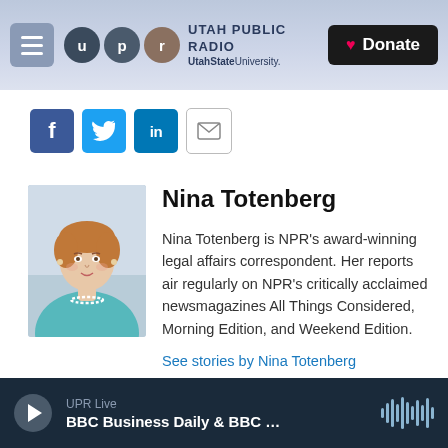Utah Public Radio — UtahState University. Donate
[Figure (screenshot): Social sharing buttons: Facebook, Twitter, LinkedIn, and email icon]
[Figure (photo): Headshot of Nina Totenberg, a woman with short auburn hair wearing a teal blazer and pearl necklace]
Nina Totenberg
Nina Totenberg is NPR's award-winning legal affairs correspondent. Her reports air regularly on NPR's critically acclaimed newsmagazines All Things Considered, Morning Edition, and Weekend Edition.
See stories by Nina Totenberg
UPR Live BBC Business Daily & BBC ...